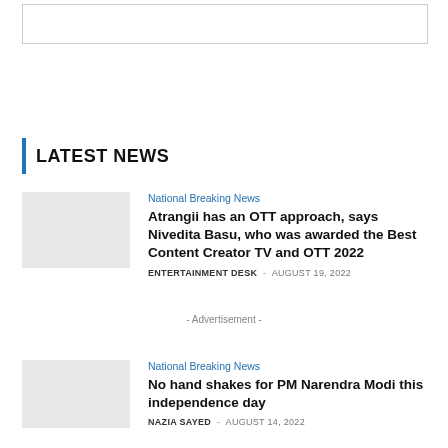[Figure (other): Advertisement banner placeholder box]
LATEST NEWS
National Breaking News
Atrangii has an OTT approach, says Nivedita Basu, who was awarded the Best Content Creator TV and OTT 2022
ENTERTAINMENT DESK · August 19, 2022
- Advertisement -
National Breaking News
No hand shakes for PM Narendra Modi this independence day
NAZIA SAYED · August 14, 2022